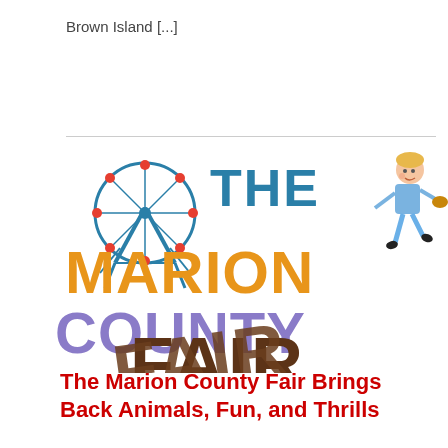Brown Island [...]
[Figure (logo): The Marion County Fair logo featuring a Ferris wheel illustration on the left, large text reading 'THE MARION COUNTY' in teal/orange/purple, a cartoon child running on the right, and partial brown block letters 'FAIR' at the bottom.]
The Marion County Fair Brings Back Animals, Fun, and Thrills